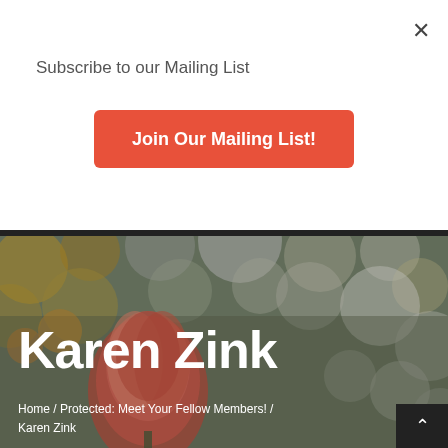×
Subscribe to our Mailing List
Join Our Mailing List!
Karen Zink
Home / Protected: Meet Your Fellow Members! / Karen Zink